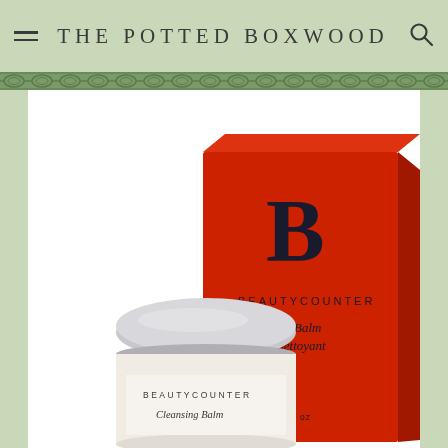THE POTTED BOXWOOD
[Figure (photo): Beautycounter Cleansing Balm product photo showing a round silver-capped jar with white label reading BEAUTYCOUNTER Cleansing Balm, positioned in front of a red box with large B logo and BEAUTYCOUNTER Cleansing Balm / Baume nettoyant text]